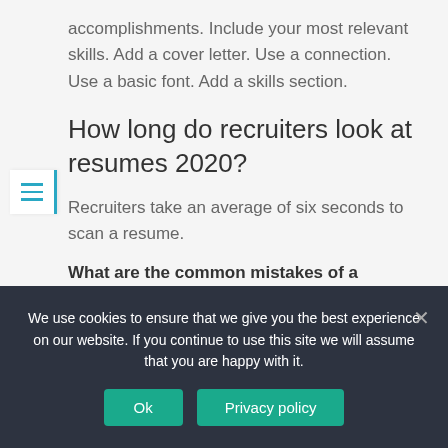accomplishments. Include your most relevant skills. Add a cover letter. Use a connection. Use a basic font. Add a skills section.
How long do recruiters look at resumes 2020?
Recruiters take an average of six seconds to scan a resume.
What are the common mistakes of a resume?
20 common resume mistakesGiving vague employment
We use cookies to ensure that we give you the best experience on our website. If you continue to use this site we will assume that you are happy with it.